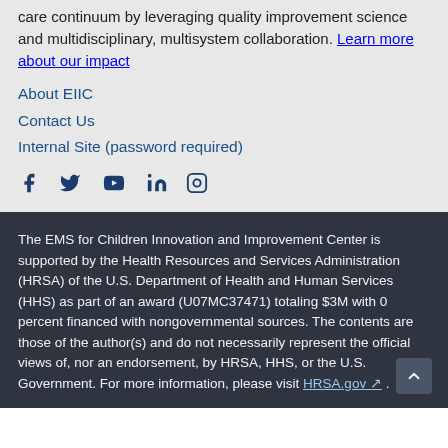care continuum by leveraging quality improvement science and multidisciplinary, multisystem collaboration. Learn more about our impact
About EIIC
Contact Us
Internal Site (password required)
[Figure (illustration): Social media icons: Facebook, Twitter, YouTube, LinkedIn, Instagram]
The EMS for Children Innovation and Improvement Center is supported by the Health Resources and Services Administration (HRSA) of the U.S. Department of Health and Human Services (HHS) as part of an award (U07MC37471) totaling $3M with 0 percent financed with nongovernmental sources. The contents are those of the author(s) and do not necessarily represent the official views of, nor an endorsement, by HRSA, HHS, or the U.S. Government. For more information, please visit HRSA.gov .